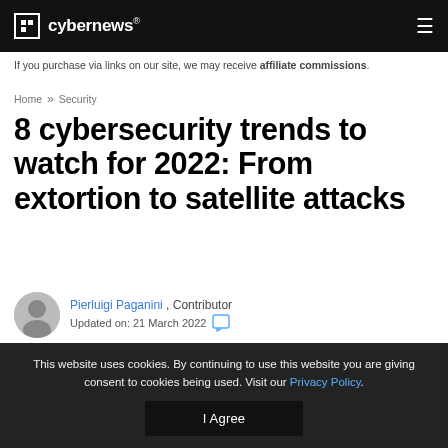cybernews®
If you purchase via links on our site, we may receive affiliate commissions.
Home » Security
8 cybersecurity trends to watch for 2022: From extortion to satellite attacks
Pierluigi Paganini, Contributor
Updated on: 21 March 2022
This website uses cookies. By continuing to use this website you are giving consent to cookies being used. Visit our Privacy Policy.